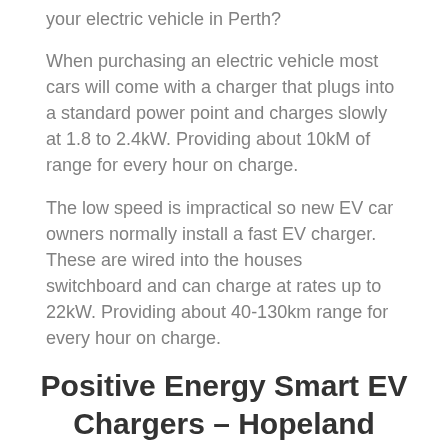your electric vehicle in Perth?
When purchasing an electric vehicle most cars will come with a charger that plugs into a standard power point and charges slowly at 1.8 to 2.4kW. Providing about 10kM of range for every hour on charge.
The low speed is impractical so new EV car owners normally install a fast EV charger. These are wired into the houses switchboard and can charge at rates up to 22kW. Providing about 40-130km range for every hour on charge.
Positive Energy Smart EV Chargers – Hopeland
[Figure (illustration): Partial view of a circular logo or illustration, showing only the top arc at the bottom of the page.]